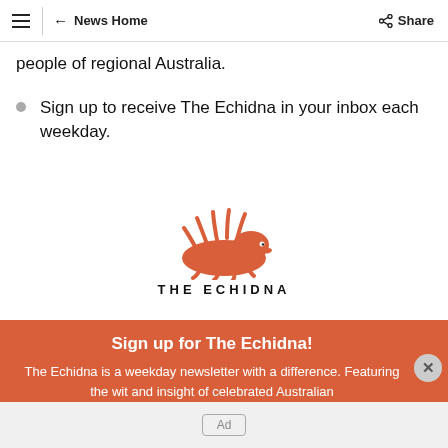≡ | ← News Home    Share
people of regional Australia.
Sign up to receive The Echidna in your inbox each weekday.
[Figure (logo): The Echidna logo — a red/orange stylized echidna silhouette above the text THE ECHIDNA in bold black uppercase letters]
Sign up for The Echidna!
The Echidna is a weekday newsletter with a difference. Featuring the wit and insight of celebrated Australian
Ad